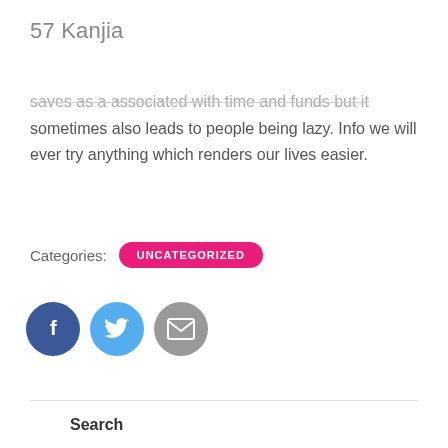57 Kanjia
saves as a associated with time and funds but it sometimes also leads to people being lazy. Info we will ever try anything which renders our lives easier.
Categories: UNCATEGORIZED
[Figure (infographic): Three social share buttons: Facebook (dark blue circle with f), Twitter (light blue circle with bird), Email (gray circle with envelope)]
Search